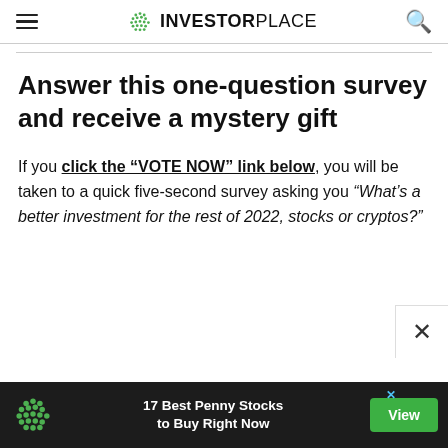INVESTORPLACE
Answer this one-question survey and receive a mystery gift
If you click the "VOTE NOW" link below, you will be taken to a quick five-second survey asking you “What’s a better investment for the rest of 2022, stocks or cryptos?”
[Figure (screenshot): Ad banner: green dot logo icon on dark background, text '17 Best Penny Stocks to Buy Right Now', green 'View' button, blue X close icon top right]
[Figure (other): White popup panel with X close button on right side]